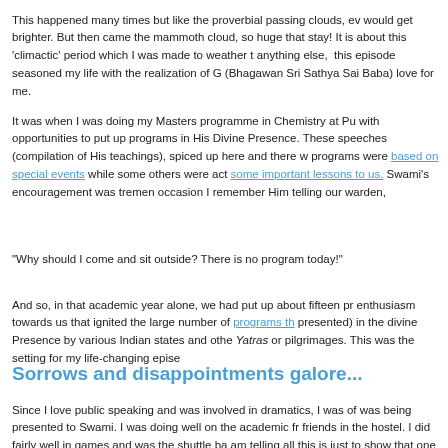This happened many times but like the proverbial passing clouds, ev would get brighter. But then came the mammoth cloud, so huge that stay! It is about this 'climactic' period which I was made to weather t anything else,  this episode seasoned my life with the realization of G (Bhagawan Sri Sathya Sai Baba) love for me.
It was when I was doing my Masters programme in Chemistry at Pu with opportunities to put up programs in His Divine Presence. These speeches (compilation of His teachings), spiced up here and there w programs were based on special events while some others were act some important lessons to us. Swami's encouragement was tremen occasion I remember Him telling our warden,
"Why should I come and sit outside? There is no program today!"
And so, in that academic year alone, we had put up about fifteen pr enthusiasm towards us that ignited the large number of programs th presented) in the divine Presence by various Indian states and othe Yatras or pilgrimages. This was the setting for my life-changing epise
Sorrows and disappointments galore...
Since I love public speaking and was involved in dramatics, I was of was being presented to Swami. I was doing well on the academic fr friends in the hostel. I did fairly well in games and was the shuttle ba am telling all this is just to show that one may seem to have everyth